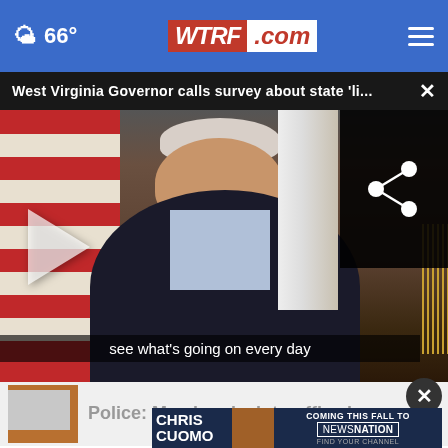66° WTRF.com
West Virginia Governor calls survey about state 'li... ×
[Figure (photo): Video player showing West Virginia Governor seated at desk with American flag and West Virginia state flag in background, subtitle reads 'see what's going on every day']
Police: Man breaks into office home
[Figure (advertisement): Chris Cuomo Coming This Fall To NewsNation advertisement banner]